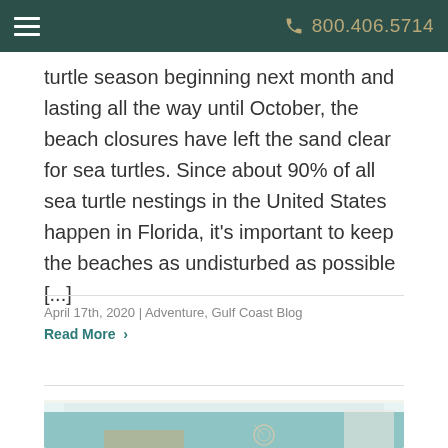800.406.5714
turtle season beginning next month and lasting all the way until October, the beach closures have left the sand clear for sea turtles. Since about 90% of all sea turtle nestings in the United States happen in Florida, it's important to keep the beaches as undisturbed as possible [...]
April 17th, 2020 | Adventure, Gulf Coast Blog
Read More >
[Figure (photo): Interior room photo showing teal/turquoise walls, white coffered ceiling with recessed lighting, and a decorative pendant chandelier]